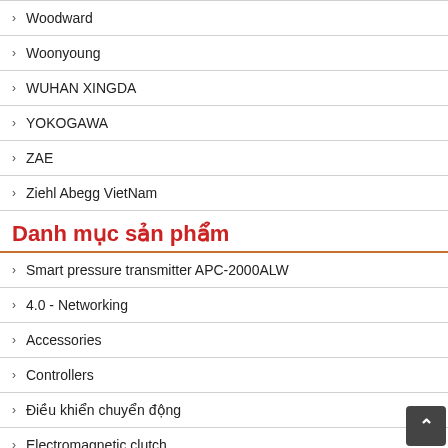Woodward
Woonyoung
WUHAN XINGDA
YOKOGAWA
ZAE
Ziehl Abegg VietNam
Danh mục sản phẩm
Smart pressure transmitter APC-2000ALW
4.0 - Networking
Accessories
Controllers
Điều khiển chuyển động
Electromagnetic clutch
Encoder
Flow & Level Measurement